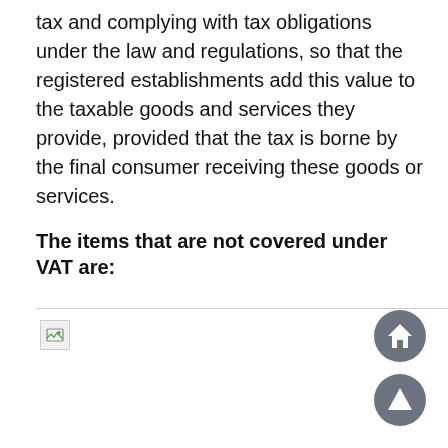tax and complying with tax obligations under the law and regulations, so that the registered establishments add this value to the taxable goods and services they provide, provided that the tax is borne by the final consumer receiving these goods or services.
The items that are not covered under VAT are:
[Figure (other): Broken image placeholder with a partial image icon, followed by a horizontal line extending to the right edge]